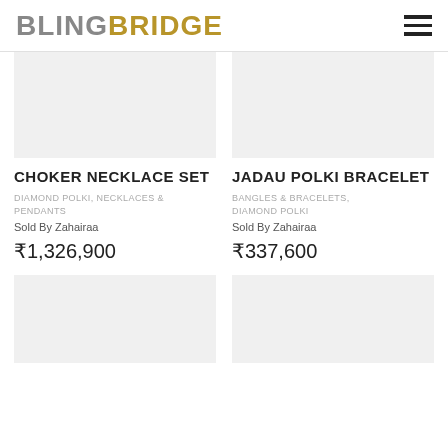BLINGBRIDGE
CHOKER NECKLACE SET
DIAMOND POLKI, NECKLACES & PENDANTS
Sold By Zahairaa
₹1,326,900
JADAU POLKI BRACELET
BANGLES & BRACELETS, DIAMOND POLKI
Sold By Zahairaa
₹337,600
[Figure (photo): Product image placeholder (top-left)]
[Figure (photo): Product image placeholder (top-right)]
[Figure (photo): Product image placeholder (bottom-left)]
[Figure (photo): Product image placeholder (bottom-right)]